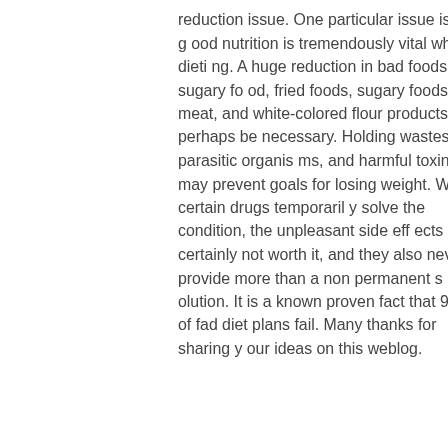reduction issue. One particular issue is that good nutrition is tremendously vital while dieting. A huge reduction in bad foods, sugary food, fried foods, sugary foods, red meat, and white-colored flour products may perhaps be necessary. Holding wastes parasitic organisms, and harmful toxins may prevent goals for losing weight. While certain drugs temporarily solve the condition, the unpleasant side effects are certainly not worth it, and they also never provide more than a non permanent solution. It is a known proven fact that 95% of fad diet plans fail. Many thanks for sharing your ideas on this weblog.